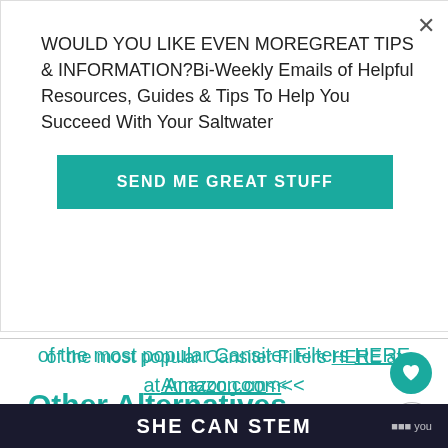[Figure (screenshot): Email opt-in modal overlay with teal button labeled SEND ME GREAT STUFF]
WOULD YOU LIKE EVEN MOREGREAT TIPS & INFORMATION?Bi-Weekly Emails of Helpful Resources, Guides & Tips To Help You Succeed With Your Saltwater
SEND ME GREAT STUFF
of the most popular Cansiter Filters HERE at Amazon.com<<
Other Alternatives
A Sump! There are many reasons why most saltwater aquariums utilize a sump and the benefits are wor the extra cost it takes to have one on your system. If
SHE CAN STEM